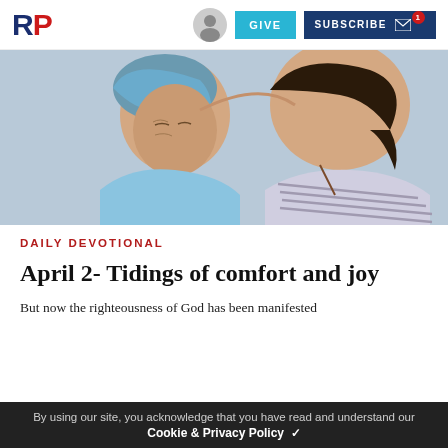RP | GIVE | SUBSCRIBE
[Figure (photo): Two women in an emotional embrace; one older woman wearing a headscarf and light blue shirt, one younger woman with dark hair resting her forehead against the older woman]
DAILY DEVOTIONAL
April 2- Tidings of comfort and joy
But now the righteousness of God has been manifested
By using our site, you acknowledge that you have read and understand our Cookie & Privacy Policy ✓